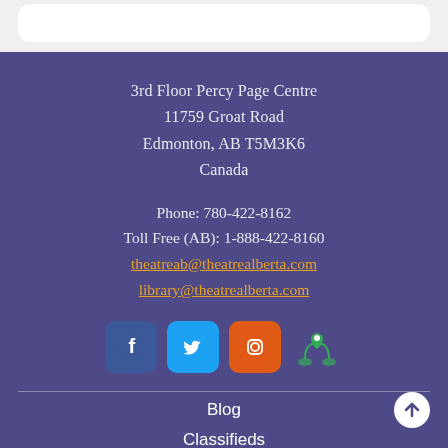3rd Floor Percy Page Centre
11759 Groat Road
Edmonton, AB T5M3K6
Canada
Phone: 780-422-8162
Toll Free (AB): 1-888-422-8160
theatreab@theatrealberta.com
library@theatrealberta.com
[Figure (infographic): Social media icons: Facebook (blue), Twitter (light blue), Instagram (orange), Maps/location (green)]
Blog
Classifieds